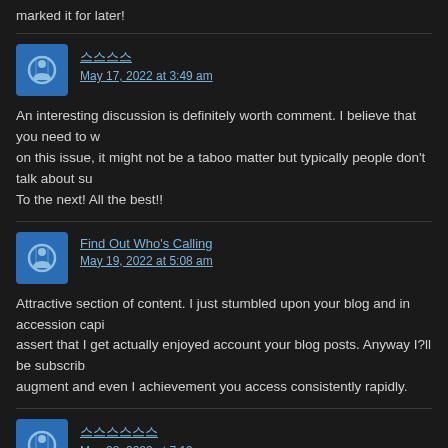marked it for later!
댓글 author: 스스스스
May 17, 2022 at 3:49 am

An interesting discussion is definitely worth comment. I believe that you need to write more on this issue, it might not be a taboo matter but typically people don't talk about such topics. To the next! All the best!!
Find Out Who's Calling
May 19, 2022 at 5:08 am

Attractive section of content. I just stumbled upon your blog and in accession capital to assert that I get actually enjoyed account your blog posts. Anyway I?ll be subscribing to your augment and even I achievement you access consistently rapidly.
댓글 author: 스스스스스스
May 28, 2022 at 7:19 pm

I blog quite often and I really thank you for your content. This great article has truly peaked my interest. I will bookmark your website and keep checking for new details about once a week. I opted in for your Feed too.